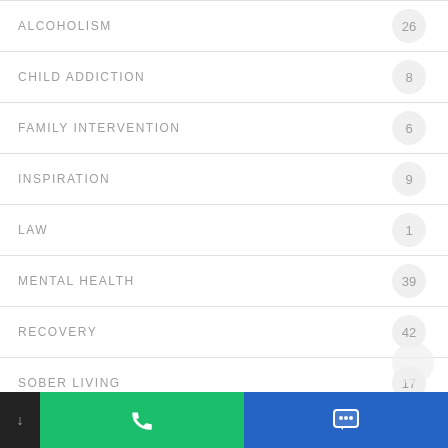ALCOHOLISM
CHILD ADDICTION
FAMILY INTERVENTION
INSPIRATION
LAW
MENTAL HEALTH
RECOVERY
SOBER LIVING
SPIRITUALITY
Call | SMS